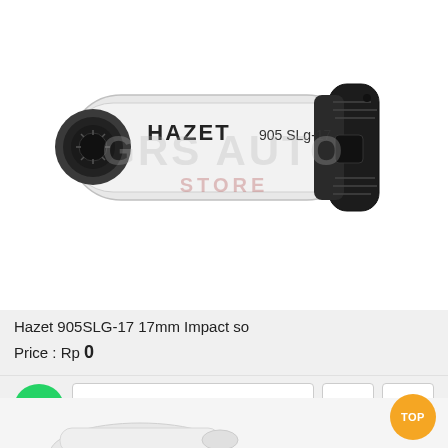[Figure (photo): Hazet 905SLg-17 impact socket tool. Cylindrical shape with white/silver body labeled HAZET 905 SLg-17, black rubber protective sleeve on the drive end. GRS AUTO STORE watermark overlaid.]
Hazet 905SLG-17 17mm Impact so
Price : Rp 0
[Figure (photo): Bottom portion showing what appears to be a white tool or wrench handle partially visible.]